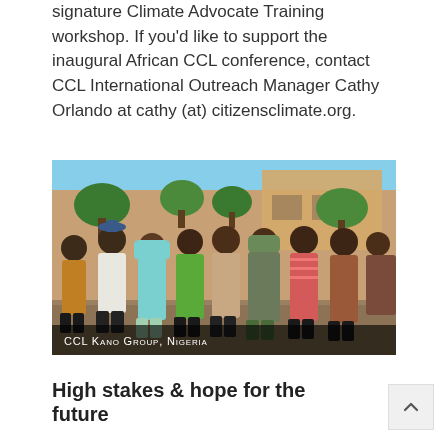signature Climate Advocate Training workshop. If you'd like to support the inaugural African CCL conference, contact CCL International Outreach Manager Cathy Orlando at cathy (at) citizensclimate.org.
[Figure (photo): Group photo of the CCL Kano Group, Nigeria. Several people standing outdoors in front of a building with trees in the background. Caption reads: CCL Kano Group, Nigeria.]
High stakes & hope for the future